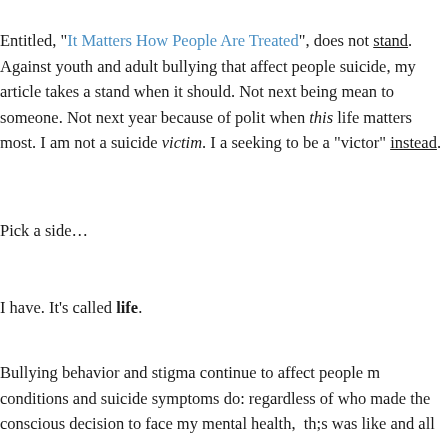Entitled, "It Matters How People Are Treated", does not stand. Against youth and adult bullying that affect people suicide, my article takes a stand when it should. Not next being mean to someone. Not next year because of politics when this life matters most. I am not a suicide victim. I am seeking to be a "victor" instead.
Pick a side…
I have. It's called life.
Bullying behavior and stigma continue to affect people mentally conditions and suicide symptoms do: regardless of who made the conscious decision to face my mental health, th;s was like and all the lives at stake. I didn't stop with but accepted the challenges I knew I would face. I chose to…
webs
powered by WEBS